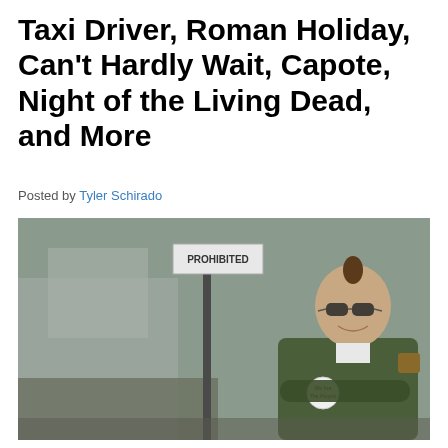Taxi Driver, Roman Holiday, Can't Hardly Wait, Capote, Night of the Living Dead, and More
Posted by Tyler Schirado
[Figure (photo): A bald man with a mohawk strip of hair, wearing aviator sunglasses and a green military-style jacket with a 'We Are The People' button badge, arms crossed and smiling, standing in front of a 'PROHIBITED' sign on a city street. Scene from Taxi Driver film.]